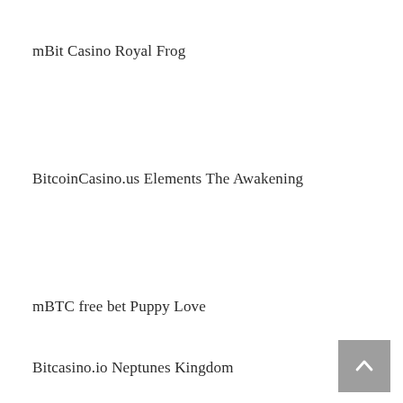mBit Casino Royal Frog
BitcoinCasino.us Elements The Awakening
mBTC free bet Puppy Love
Bitcasino.io Neptunes Kingdom